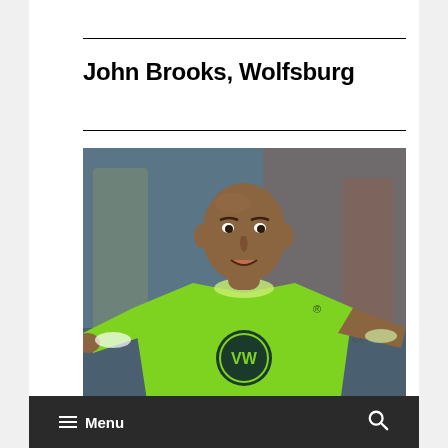John Brooks, Wolfsburg
[Figure (photo): John Brooks, a soccer player wearing a lime green VfL Wolfsburg jersey with VW logo, arms outstretched, looking alert, photographed during a match with blurred background]
Though his surprising departure from the U.S.
Menu  🔍